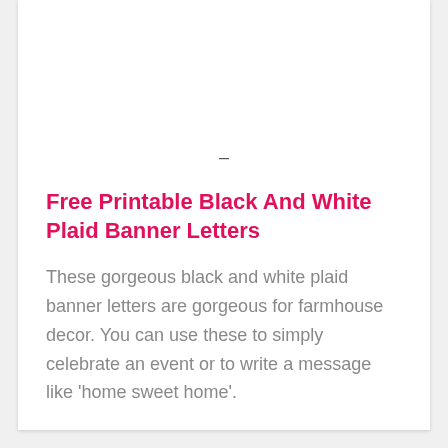–
Free Printable Black And White Plaid Banner Letters
These gorgeous black and white plaid banner letters are gorgeous for farmhouse decor. You can use these to simply celebrate an event or to write a message like ‘home sweet home’.